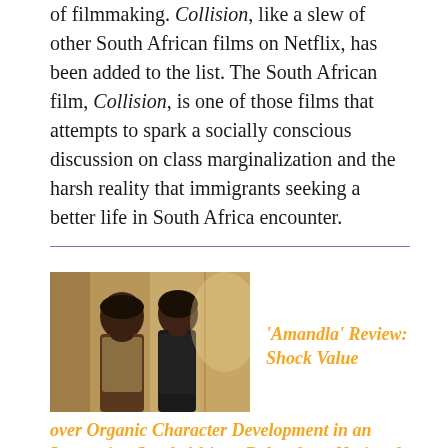of filmmaking. Collision, like a slew of other South African films on Netflix, has been added to the list. The South African film, Collision, is one of those films that attempts to spark a socially conscious discussion on class marginalization and the harsh reality that immigrants seeking a better life in South Africa encounter.
[Figure (photo): A still image from the film 'Amandla' showing two figures facing each other in warm, dimly lit interior setting.]
'Amandla' Review: Shock Value over Organic Character Development in an Interesting South African Debut from Nerina de Jager